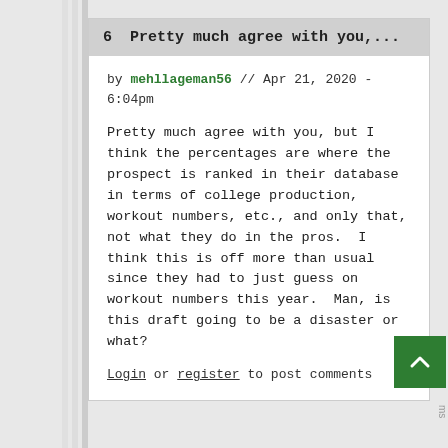6  Pretty much agree with you,...
by mehllageman56 // Apr 21, 2020 - 6:04pm
Pretty much agree with you, but I think the percentages are where the prospect is ranked in their database in terms of college production, workout numbers, etc., and only that, not what they do in the pros.  I think this is off more than usual since they had to just guess on workout numbers this year.  Man, is this draft going to be a disaster or what?
Login or register to post comments